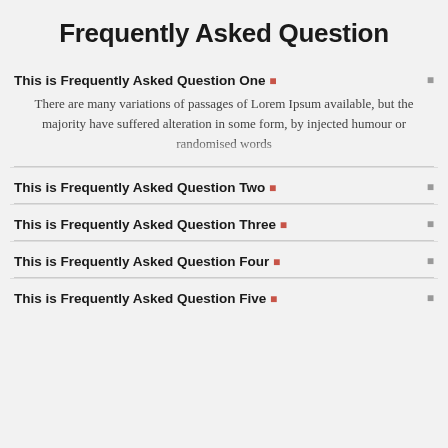Frequently Asked Question
This is Frequently Asked Question One
There are many variations of passages of Lorem Ipsum available, but the majority have suffered alteration in some form, by injected humour or randomised words...
This is Frequently Asked Question Two
This is Frequently Asked Question Three
This is Frequently Asked Question Four
This is Frequently Asked Question Five